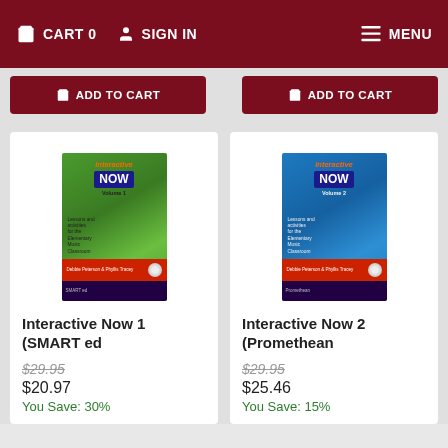CART 0  SIGN IN  MENU
ADD TO CART  ADD TO CART
[Figure (illustration): Interactive Now Volume 1 book cover with green background]
Interactive Now 1 (SMART ed
$29.95
$20.97
You Save: 30%
[Figure (illustration): Interactive Now Volume 2 book cover with blue background]
Interactive Now 2 (Promethean
$29.95
$25.46
You Save: 15%